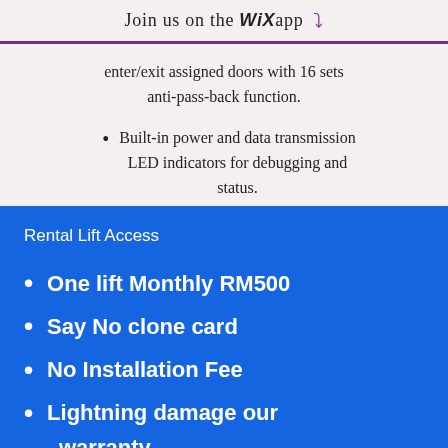Join us on the WiX app ↓
enter/exit assigned doors with 16 sets anti-pass-back function.
Built-in power and data transmission LED indicators for debugging and status.
Rental Lift Access
One lift Monthly RM500
Say No clone card
No Installation Fee
Lightning damage our warranty